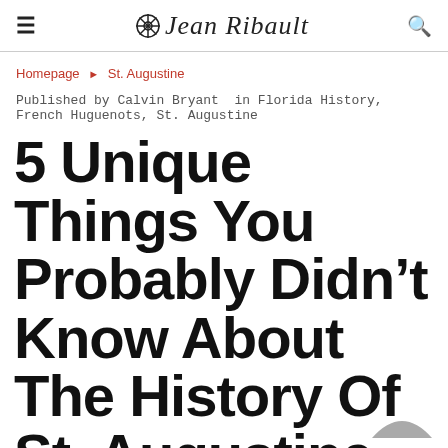Jean Ribault
Homepage ▶ St. Augustine
Published by Calvin Bryant in Florida History, French Huguenots, St. Augustine
5 Unique Things You Probably Didn't Know About The History Of St. Augustine